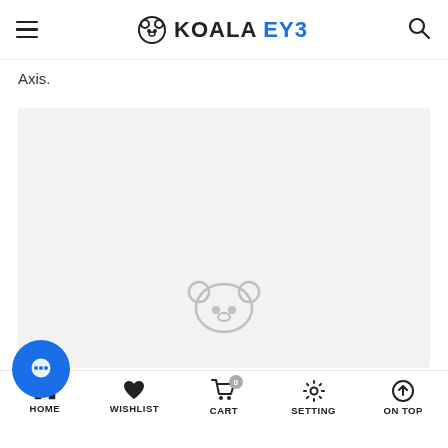KOALAEYE
Axis.
[Figure (logo): Gray placeholder area with a faint koala logo centered at the bottom]
HOME   WISHLIST   CART   SETTING   ON TOP